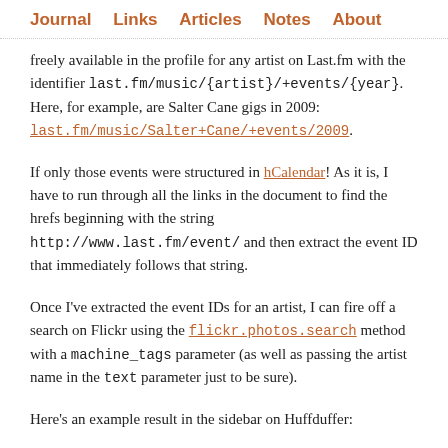Journal   Links   Articles   Notes   About
freely available in the profile for any artist on Last.fm with the identifier last.fm/music/{artist}/+events/{year}. Here, for example, are Salter Cane gigs in 2009: last.fm/music/Salter+Cane/+events/2009.
If only those events were structured in hCalendar! As it is, I have to run through all the links in the document to find the hrefs beginning with the string http://www.last.fm/event/ and then extract the event ID that immediately follows that string.
Once I've extracted the event IDs for an artist, I can fire off a search on Flickr using the flickr.photos.search method with a machine_tags parameter (as well as passing the artist name in the text parameter just to be sure).
Here's an example result in the sidebar on Huffduffer: